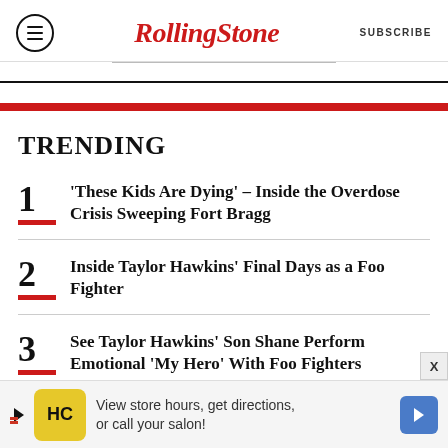Rolling Stone | SUBSCRIBE
TRENDING
1  'These Kids Are Dying' – Inside the Overdose Crisis Sweeping Fort Bragg
2  Inside Taylor Hawkins' Final Days as a Foo Fighter
3  See Taylor Hawkins' Son Shane Perform Emotional 'My Hero' With Foo Fighters
4  'Don't Worry Darling' Stars
View store hours, get directions, or call your salon!